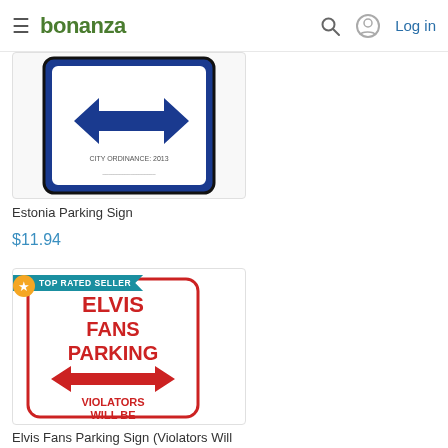bonanza — Log in
[Figure (photo): Estonia Parking Sign product image showing a parking sign with a blue double-headed arrow, partially cropped at top]
Estonia Parking Sign
$11.94
[Figure (photo): Elvis Fans Parking Sign with red text on white background reading: ELVIS FANS PARKING with double-headed arrow, VIOLATORS WILL BE ALL SHOOK UP. TOP RATED SELLER badge.]
Elvis Fans Parking Sign (Violators Will